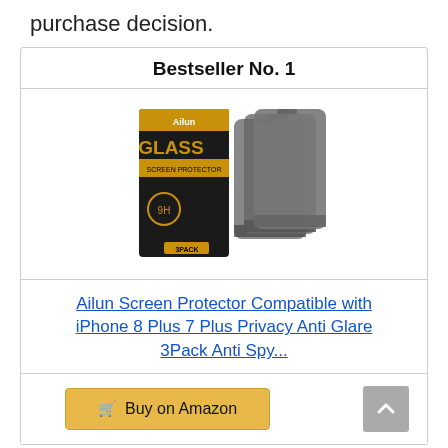purchase decision.
Bestseller No. 1
[Figure (photo): Product image of Ailun Glass Screen Protector 3Pack with box and three screen protectors shown against white background]
Ailun Screen Protector Compatible with iPhone 8 Plus 7 Plus Privacy Anti Glare 3Pack Anti Spy...
Buy on Amazon